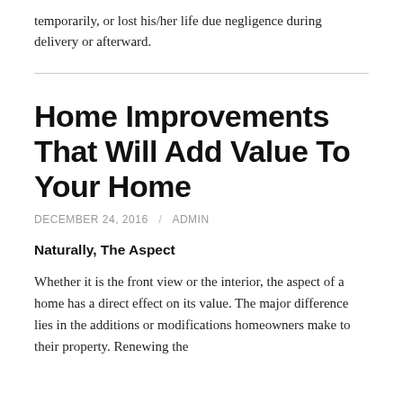temporarily, or lost his/her life due negligence during delivery or afterward.
Home Improvements That Will Add Value To Your Home
DECEMBER 24, 2016 / ADMIN
Naturally, The Aspect
Whether it is the front view or the interior, the aspect of a home has a direct effect on its value. The major difference lies in the additions or modifications homeowners make to their property. Renewing the